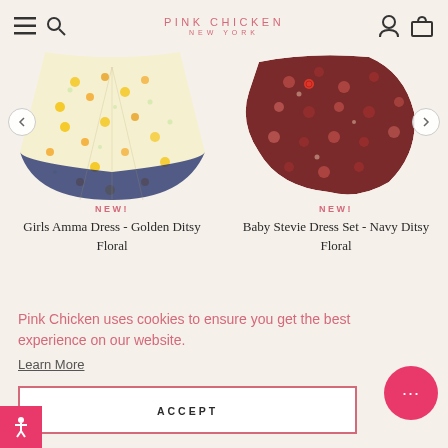PINK CHICKEN NEW YORK
[Figure (photo): Yellow floral dress (Girls Amma Dress - Golden Ditsy Floral) shown from bottom, flared skirt with navy trim]
NEW!
Girls Amma Dress - Golden Ditsy Floral
[Figure (photo): Dark red/navy floral baby dress set (Baby Stevie Dress Set - Navy Ditsy Floral) showing fabric with red button detail]
NEW!
Baby Stevie Dress Set - Navy Ditsy Floral
Pink Chicken uses cookies to ensure you get the best experience on our website.
Learn More
ACCEPT